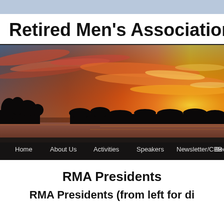Retired Men's Association of G
[Figure (photo): Wide panoramic banner photo of a vivid orange and red sunset over a calm lake or river, with silhouetted bare trees along the shoreline. Navigation bar at the bottom with links: Home, About Us, Activities, Speakers, Newsletter/CBB, Bec...]
RMA Presidents
RMA Presidents (from left for di...